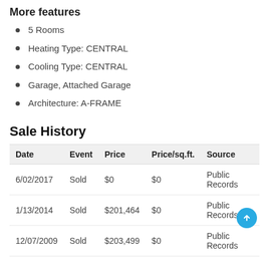More features
5 Rooms
Heating Type: CENTRAL
Cooling Type: CENTRAL
Garage, Attached Garage
Architecture: A-FRAME
Sale History
| Date | Event | Price | Price/sq.ft. | Source |
| --- | --- | --- | --- | --- |
| 6/02/2017 | Sold | $0 | $0 | Public Records |
| 1/13/2014 | Sold | $201,464 | $0 | Public Records |
| 12/07/2009 | Sold | $203,499 | $0 | Public Records |